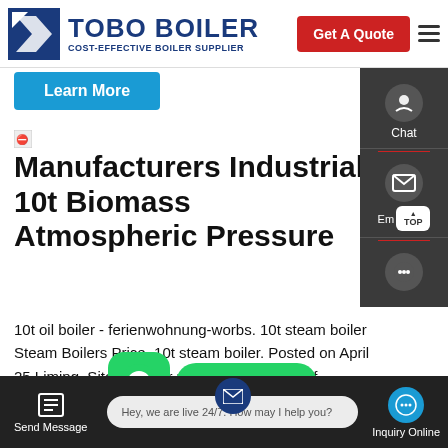[Figure (logo): TOBO BOILER logo with blue geometric icon, text 'TOBO BOILER' in dark blue bold, subtitle 'COST-EFFECTIVE BOILER SUPPLIER']
[Figure (screenshot): Red 'Get A Quote' button and hamburger menu icon in header]
[Figure (screenshot): Cyan 'Learn More' button]
[Figure (other): Broken image placeholder icon]
Manufacturers Industrial 10t Biomass Atmospheric Pressure
10t oil boiler - ferienwohnung-worbs. 10t steam boiler Steam Boilers Price. 10t steam boiler. Posted on April 25 Liming. Sitong Boiler produces thousands of industrials coal fired steam boiler biomass pellet boilers coal fired chain grate boiler thermal oil boilers we sell do... and
[Figure (screenshot): Right sidebar with Chat, Email, TOP buttons on dark background]
[Figure (screenshot): WhatsApp green bubble icon overlay with 'Contact us now!' green button]
[Figure (screenshot): Bottom bar with Send Message, live chat input 'Hey, we are live 24/7. How may I help you?', and Inquiry Online button]